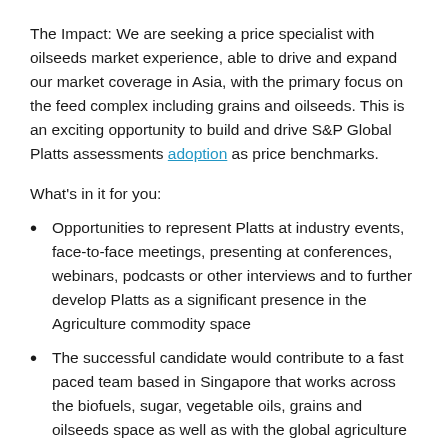The Impact: We are seeking a price specialist with oilseeds market experience, able to drive and expand our market coverage in Asia, with the primary focus on the feed complex including grains and oilseeds. This is an exciting opportunity to build and drive S&P Global Platts assessments adoption as price benchmarks.
What's in it for you:
Opportunities to represent Platts at industry events, face-to-face meetings, presenting at conferences, webinars, podcasts or other interviews and to further develop Platts as a significant presence in the Agriculture commodity space
The successful candidate would contribute to a fast paced team based in Singapore that works across the biofuels, sugar, vegetable oils, grains and oilseeds space as well as with the global agriculture team in USA, South